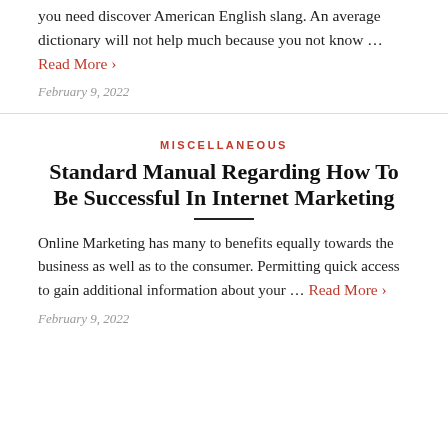you need discover American English slang. An average dictionary will not help much because you not know … Read More ›
February 9, 2022
MISCELLANEOUS
Standard Manual Regarding How To Be Successful In Internet Marketing
Online Marketing has many to benefits equally towards the business as well as to the consumer. Permitting quick access to gain additional information about your … Read More ›
February 9, 2022